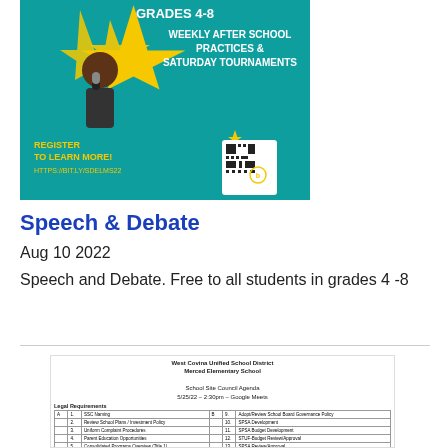[Figure (illustration): Promotional flyer for Speech & Debate club for grades 4-8. Teal background with yellow star, student holding microphone. Text: 'GRADES 4-8', 'WEEKLY AFTER SCHOOL PRACTICES & SATURDAY TOURNAMENTS', 'REGISTER TO LEARN MORE!', 'HTTPS://BIT.LY/SDELMS22'. QR code visible.]
Speech & Debate
Aug 10 2022
Speech and Debate. Free to all students in grades 4 -8
[Figure (screenshot): Screenshot of West Covina Unified School District, Merced Elementary School, School Site Council Agenda, 5/25/22 - 2:30pm - Google Meets. Contains a table of agenda items and 'Opening / Call to Order' section below.]